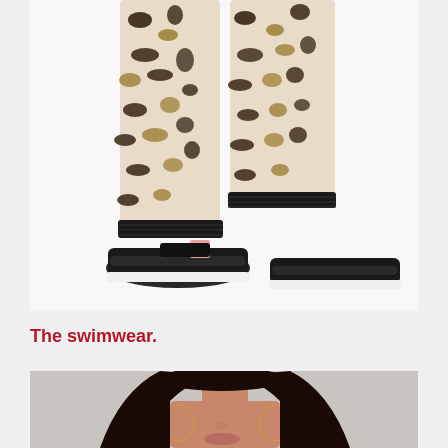[Figure (photo): Close-up of a model's legs wearing leopard print jogger pants with black ribbed cuffs and black sneakers with a white sole, on a white background.]
The swimwear.
[Figure (photo): Top portion of a model with long dark hair and large hoop earrings, partially visible, on a light grey background.]